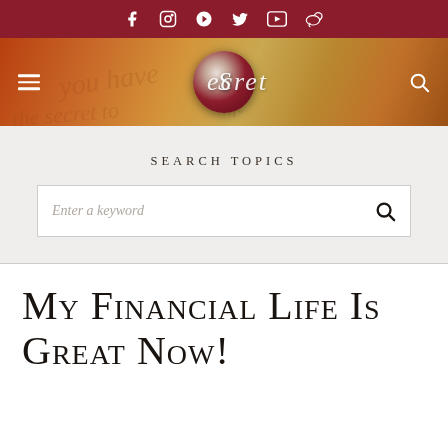Social media icons: Facebook, Instagram, Pinterest, Twitter, YouTube, Weibo
[Figure (logo): The Secret website header banner with logo circle containing stylized S and script text]
Search Topics
Enter a keyword
My Financial Life Is Great Now!